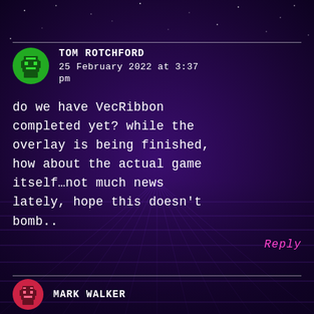[Figure (screenshot): Dark purple space-themed background with retro grid floor and scattered white star dots]
TOM ROTCHFORD
25 February 2022 at 3:37 pm
do we have VecRibbon completed yet? while the overlay is being finished, how about the actual game itself…not much news lately, hope this doesn't bomb..
Reply
MARK WALKER